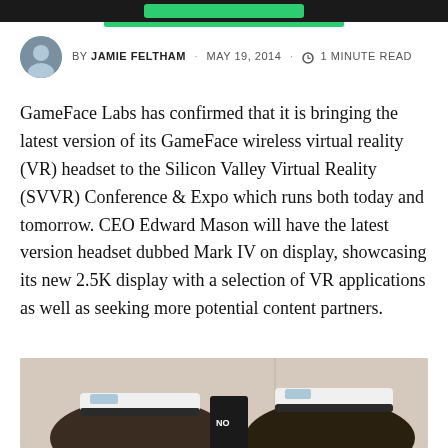BY JAMIE FELTHAM · MAY 19, 2014 · 1 MINUTE READ
GameFace Labs has confirmed that it is bringing the latest version of its GameFace wireless virtual reality (VR) headset to the Silicon Valley Virtual Reality (SVVR) Conference & Expo which runs both today and tomorrow. CEO Edward Mason will have the latest version headset dubbed Mark IV on display, showcasing its new 2.5K display with a selection of VR applications as well as seeking more potential content partners.
[Figure (photo): Two people wearing white GameFace VR headsets]